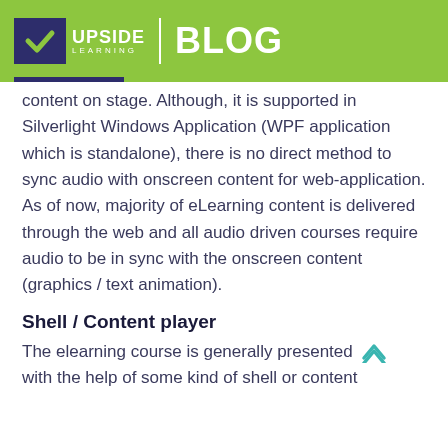UPSIDE LEARNING | BLOG
content on stage. Although, it is supported in Silverlight Windows Application (WPF application which is standalone), there is no direct method to sync audio with onscreen content for web-application. As of now, majority of eLearning content is delivered through the web and all audio driven courses require audio to be in sync with the onscreen content (graphics / text animation).
Shell / Content player
The elearning course is generally presented with the help of some kind of shell or content